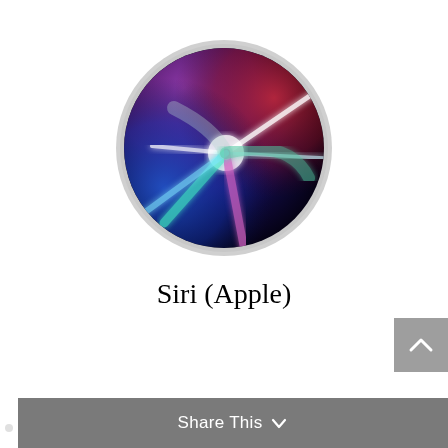[Figure (logo): Siri (Apple) circular logo icon with colorful light streaks (blue, pink, green, white) on a dark sphere background with a light gray circular border.]
Siri (Apple)
[Figure (other): Gray scroll-to-top button with an upward-pointing chevron arrow icon, positioned at the right edge of the page.]
Share This